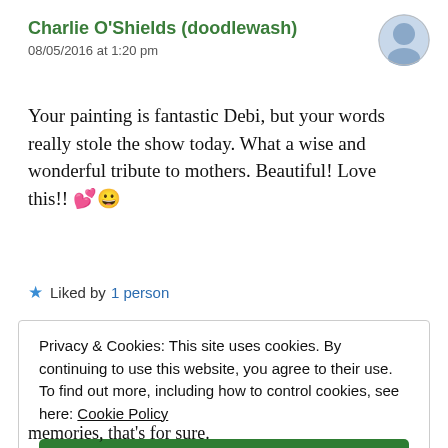Charlie O'Shields (doodlewash)
08/05/2016 at 1:20 pm
Your painting is fantastic Debi, but your words really stole the show today. What a wise and wonderful tribute to mothers. Beautiful! Love this!! 💕😀
★ Liked by 1 person
Privacy & Cookies: This site uses cookies. By continuing to use this website, you agree to their use. To find out more, including how to control cookies, see here: Cookie Policy
Close and accept
memories, that's for sure.